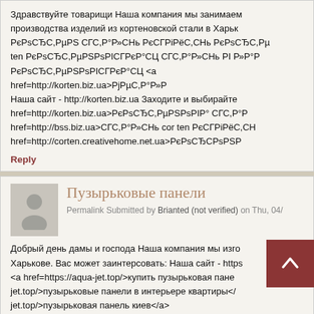Здравствуйте товарищи Наша компания мы занимаем производства изделий из кортеновской стали в Харьк РєРsСЂС,РµPS СГС,Р°Р»СНь РєСГРiРёС,СНь РєРsСЂС,Рµ ten РєРsСЂС,РµPSРsPIСГРєР°СЦ СГС,Р°Р»СНь PI Р»Р°Р РєРsСЂС,РµPSРsPIСГРєР°СЦ <a href=http://korten.biz.ua>РjРµС,Р°Р» Наша сайт - http://korten.biz.ua Заходите и выбирайте href=http://korten.biz.ua>РєРsСЂС,РµPSРsРIР° СГС,Р°Р href=http://bss.biz.ua>СГС,Р°Р»СНь cor ten РєСГРiРёС,СН href=http://corten.creativehome.net.ua>РєРsСЂСРsPSР
Reply
Пузырьковые панели
Permalink Submitted by Brianted (not verified) on Thu, 04/
Добрый день дамы и господа Наша компания мы изго Харькове. Вас может заинтерсовать: Наша сайт - https <a href=https://aqua-jet.top/>купить пузырьковая пане jet.top/>пузырьковые панели в интерьере квартиры</ jet.top/>пузырьковая панель киев</a>
Reply